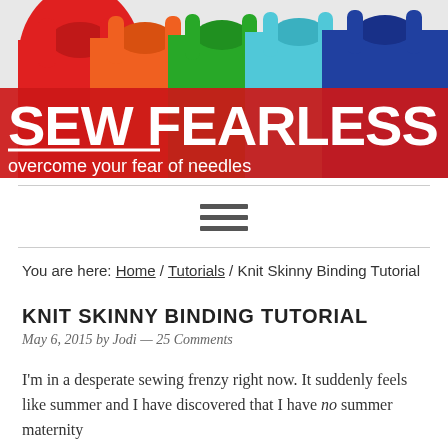[Figure (photo): Sew Fearless blog header banner with colorful tank tops (red, orange, green, teal, blue) and bold white text reading 'SEW FEARLESS' with tagline 'overcome your fear of needles']
[Figure (other): Hamburger menu icon with three horizontal lines]
You are here: Home / Tutorials / Knit Skinny Binding Tutorial
KNIT SKINNY BINDING TUTORIAL
May 6, 2015 by Jodi — 25 Comments
I'm in a desperate sewing frenzy right now. It suddenly feels like summer and I have discovered that I have no summer maternity